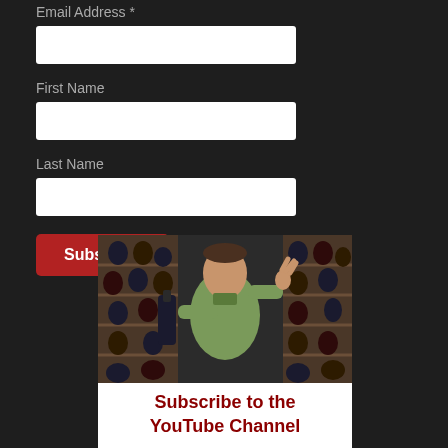Email Address *
First Name
Last Name
Subscribe
[Figure (screenshot): A man in a wine shop holding a wine bottle and making an OK gesture, surrounded by wine racks filled with bottles.]
Subscribe to the YouTube Channel